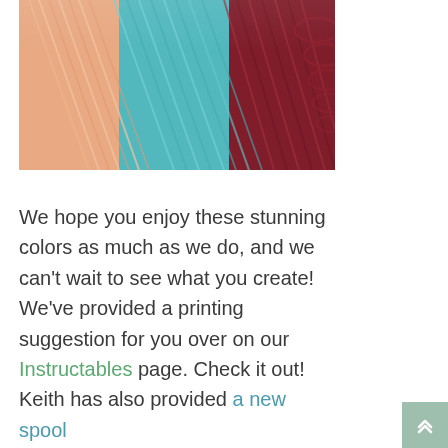[Figure (photo): Close-up photo of multiple colorful 3D printing filament strands fanned out: salmon/peach on the left, teal/turquoise in the middle, and dark red/maroon on the right.]
We hope you enjoy these stunning colors as much as we do, and we can't wait to see what you create! We've provided a printing suggestion for you over on our Instructables page. Check it out! Keith has also provided a new spool